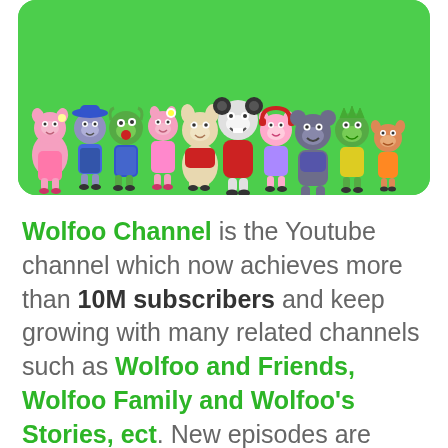[Figure (illustration): Group of animated cartoon animal characters standing together on a green background banner. Characters include various animals like wolves, pigs, bears, hippos, crocodiles in colorful outfits.]
Wolfoo Channel is the Youtube channel which now achieves more than 10M subscribers and keep growing with many related channels such as Wolfoo and Friends, Wolfoo Family and Wolfoo's Stories, ect. New episodes are launching every day from Monday to Saturday. We assume that kids would love to collect some of Wolfoo's products so we decided to create a website which we would love to introduce